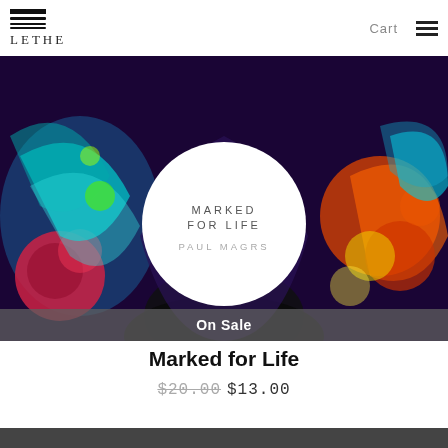LETHE | Cart
[Figure (photo): Book cover image with colorful tattooed figure. White circle overlay with text: MARKED FOR LIFE / PAUL MAGRS. 'On Sale' banner at bottom.]
Marked for Life
$20.00  $13.00